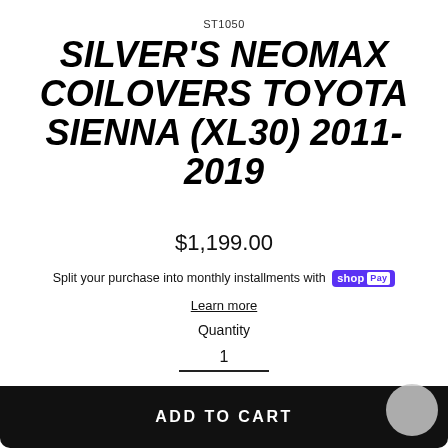ST1050
SILVER'S NEOMAX COILOVERS TOYOTA SIENNA (XL30) 2011-2019
$1,199.00
Split your purchase into monthly installments with shop Pay
Learn more
Quantity
1
ADD TO CART